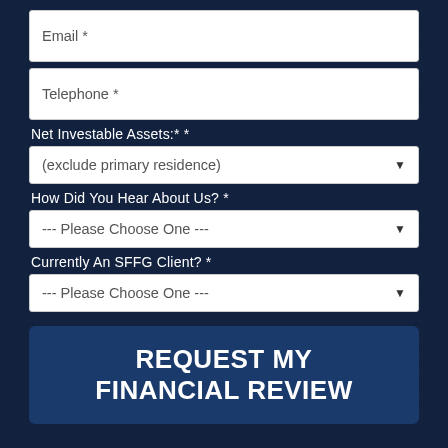Email *
Telephone *
Net Investable Assets:* *
(exclude primary residence)
How Did You Hear About Us? *
--- Please Choose One ---
Currently An SFFG Client? *
--- Please Choose One ---
REQUEST MY FINANCIAL REVIEW